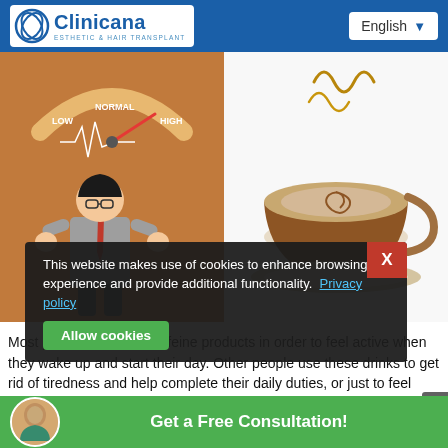Clinicana | Esthetic & Hair Transplant — English
[Figure (illustration): Two side-by-side images: left shows cartoon illustration of stressed man with high blood pressure gauge (LOW/NORMAL/HIGH) on orange background; right shows illustration of a coffee cup with steam on white background]
This website makes use of cookies to enhance browsing experience and provide additional functionality. Privacy policy
Allow cookies
Most people consume caffeine products in order to feel active when they wake up and start their day. Other people use these drinks to get rid of tiredness and help complete their daily duties, or just to feel relax. The problem of caffeine is that it's responsible for increasing the blood pressure, and as a result, the probability of bleeding during the operation w...
Get a Free Consultation!